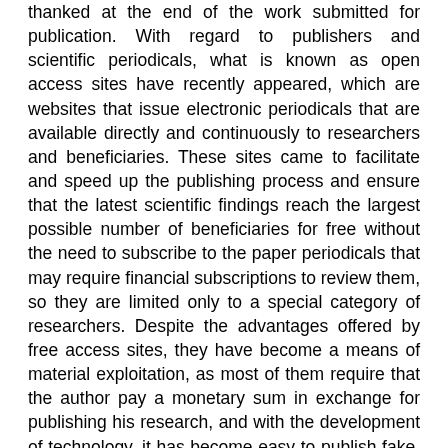thanked at the end of the work submitted for publication. With regard to publishers and scientific periodicals, what is known as open access sites have recently appeared, which are websites that issue electronic periodicals that are available directly and continuously to researchers and beneficiaries. These sites came to facilitate and speed up the publishing process and ensure that the latest scientific findings reach the largest possible number of beneficiaries for free without the need to subscribe to the paper periodicals that may require financial subscriptions to review them, so they are limited only to a special category of researchers. Despite the advantages offered by free access sites, they have become a means of material exploitation, as most of them require that the author pay a monetary sum in exchange for publishing his research, and with the development of technology, it has become easy to publish fake, misleading or low-quality research on these sites without there being a review and scrutiny before Publishing, and therefore in the direction towards creativity and the knowledge economy, it is necessary to